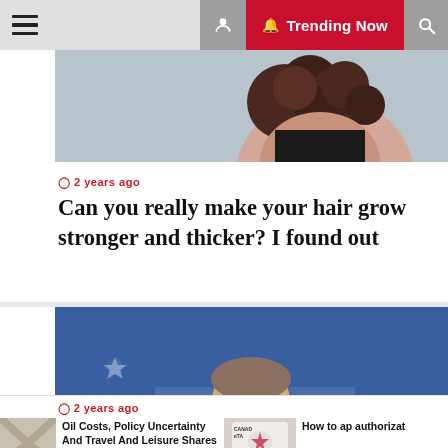≡  🔔 Trending Now 🔍
[Figure (photo): Partial photo of a woman with curly dark hair against a light background]
🕐 2 years ago
Can you really make your hair grow stronger and thicker? I found out
[Figure (photo): A man in a suit at a presidential podium pointing, with a blue background showing stars and stripes]
🕐 2 years ago
Oil Costs, Policy Uncertainty And Travel And Leisure Shares In China
How to ap authorizat